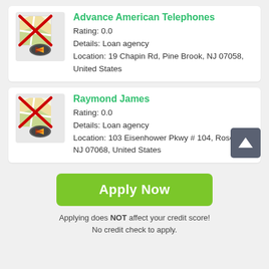[Figure (screenshot): Listing card for Advance American Telephones loan agency with map icon crossed out, rating 0.0, and address 19 Chapin Rd, Pine Brook, NJ 07058, United States]
[Figure (screenshot): Listing card for Raymond James loan agency with map icon crossed out, rating 0.0, and address 103 Eisenhower Pkwy # 104, Roseland, NJ 07068, United States]
[Figure (infographic): Green Apply Now button with text below: Applying does NOT affect your credit score! No credit check to apply.]